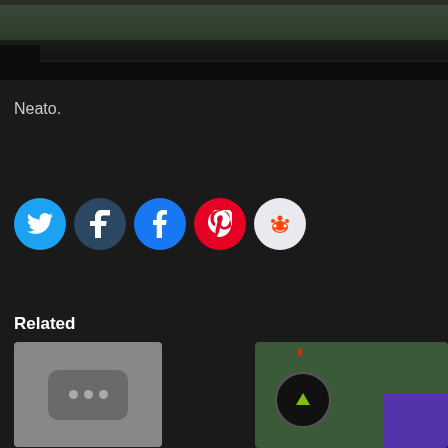[Figure (photo): Dark top portion of a page showing a landscape/road image, mostly dark with a horizontal divider bar and small black box in corner]
Neato.
[Figure (infographic): Row of five social media share buttons: Twitter (blue bird), Tumblr (dark blue t), Facebook (blue f), Pinterest (red P), Reddit (light grey alien)]
Related
[Figure (photo): Thumbnail for related article 'Time Is — It's a Beautiful Day' showing a grey placeholder image with three dots]
Time Is — It's a Beautiful Day
April 29, 2019
[Figure (photo): Partial thumbnail of a second related article showing dark green background with scroll-to-top button and purple element at bottom right]